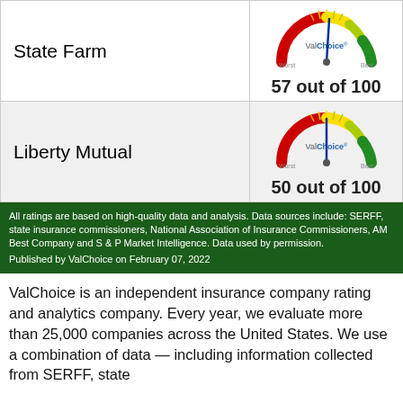| Company | Rating |
| --- | --- |
| State Farm | 57 out of 100 |
| Liberty Mutual | 50 out of 100 |
All ratings are based on high-quality data and analysis. Data sources include: SERFF, state insurance commissioners, National Association of Insurance Commissioners, AM Best Company and S & P Market Intelligence. Data used by permission. Published by ValChoice on February 07, 2022
ValChoice is an independent insurance company rating and analytics company. Every year, we evaluate more than 25,000 companies across the United States. We use a combination of data — including information collected from SERFF, state